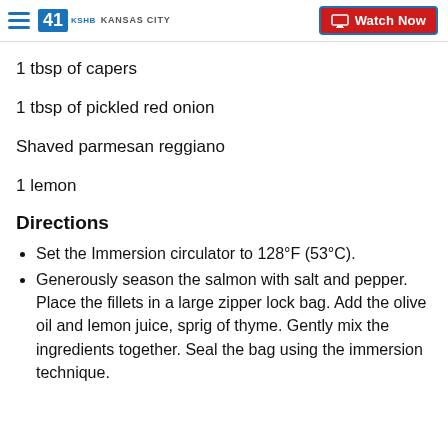41 KSHB KANSAS CITY | Watch Now
1 tbsp of capers
1 tbsp of pickled red onion
Shaved parmesan reggiano
1 lemon
Directions
Set the Immersion circulator to 128°F (53°C).
Generously season the salmon with salt and pepper. Place the fillets in a large zipper lock bag. Add the olive oil and lemon juice, sprig of thyme. Gently mix the ingredients together. Seal the bag using the immersion technique.